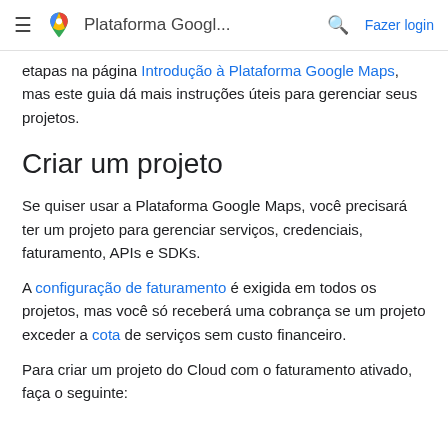≡  Plataforma Googl...  🔍  Fazer login
etapas na página Introdução à Plataforma Google Maps, mas este guia dá mais instruções úteis para gerenciar seus projetos.
Criar um projeto
Se quiser usar a Plataforma Google Maps, você precisará ter um projeto para gerenciar serviços, credenciais, faturamento, APIs e SDKs.
A configuração de faturamento é exigida em todos os projetos, mas você só receberá uma cobrança se um projeto exceder a cota de serviços sem custo financeiro.
Para criar um projeto do Cloud com o faturamento ativado, faça o seguinte: